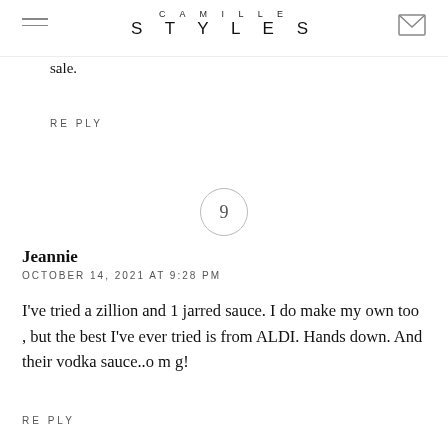CAMILLE STYLES
sale.
RE PLY
9
Jeannie
OCTOBER 14, 2021 AT 9:28 PM
I've tried a zillion and 1 jarred sauce. I do make my own too , but the best I've ever tried is from ALDI. Hands down. And their vodka sauce..o m g!
RE PLY